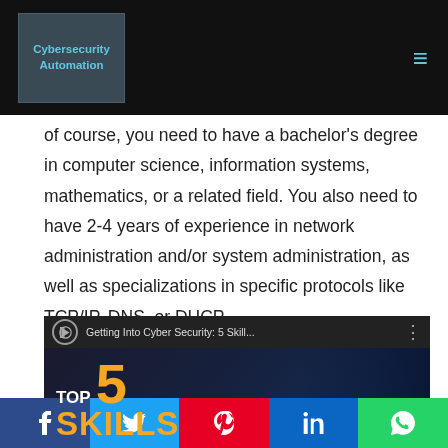Cybersecurity Automation
of course, you need to have a bachelor's degree in computer science, information systems, mathematics, or a related field. You also need to have 2-4 years of experience in network administration and/or system administration, as well as specializations in specific protocols like TCP/IP, DNS, or DHCP.
[Figure (screenshot): YouTube video thumbnail for 'Getting Into Cyber Security: 5 Skill...' showing 'TOP 5 SKILLS TO GET INTO' text with orange and white typography on dark background]
f  t  p  in  (WhatsApp icon)